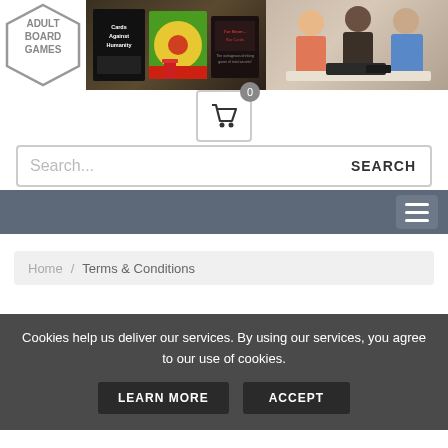[Figure (screenshot): Adult Board Games website header banner with hexagon logo on left and product images (Cards Against Humanity, other board games) and people playing games on right]
[Figure (illustration): Shopping cart icon with badge showing 0 items]
Search...
SEARCH
[Figure (illustration): Hamburger menu button with three horizontal lines on gray navigation bar]
Home / Terms & Conditions
Cookies help us deliver our services. By using our services, you agree to our use of cookies.
LEARN MORE
ACCEPT